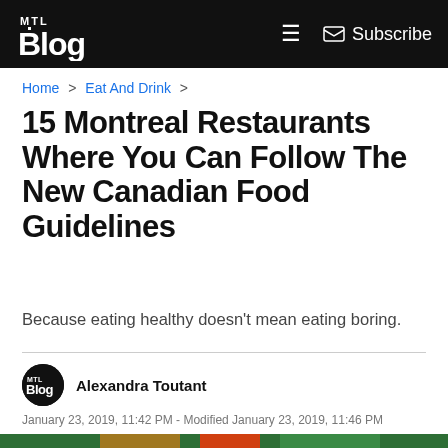MTL Blog — Subscribe
Home > Eat And Drink >
15 Montreal Restaurants Where You Can Follow The New Canadian Food Guidelines
Because eating healthy doesn't mean eating boring.
Alexandra Toutant
January 23, 2019, 11:42 PM - Modified January 23, 2019, 11:46 PM
comments